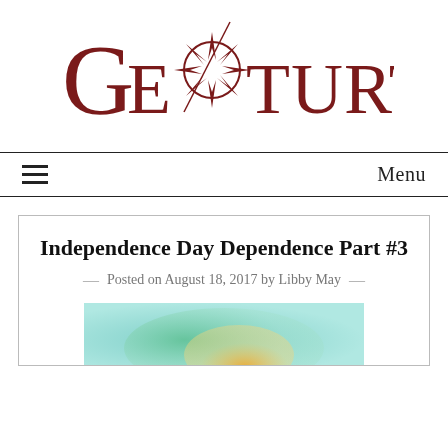[Figure (logo): GeoTurtle logo — large stylized serif text 'GEOTURTLE' in dark red/maroon with a compass rose star replacing the letter O]
Menu
Independence Day Dependence Part #3
Posted on August 18, 2017 by Libby May
[Figure (photo): Partial view of a colorful image, showing teal/green and orange colors at the bottom of the article card]